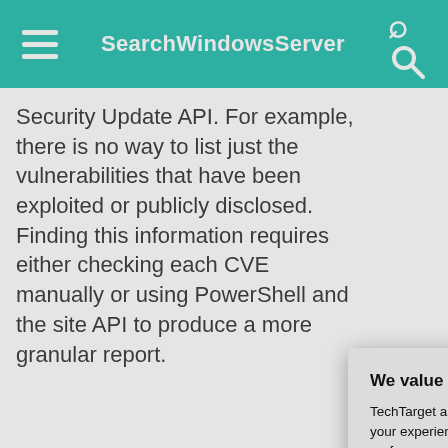SearchWindowsServer
Security Update API. For example, there is no way to list just the vulnerabilities that have been exploited or publicly disclosed. Finding this information requires either checking each CVE manually or using PowerShell and the site API to produce a more granular report.
[Figure (screenshot): Microsoft Office SharePoint XSS vulnerability detail page showing security vulnerability info, released date 10/11/2021, MSRC CVE, base score metrics including Attack Vector, Attack Complexity, Privileges Required, User Interaction, Scope, Confidentiality fields with some highlighted in red and green]
The new version ... format to descri... the right, that us...
We value your privacy. TechTarget and its partners employ cookies to improve your experience on our site, to analyze traffic and performance, and to serve personalized content and advertising that are relevant to your professional interests. You can manage your settings at any time. Please view our Privacy Policy for more information